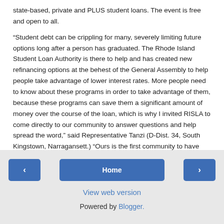state-based, private and PLUS student loans. The event is free and open to all.
“Student debt can be crippling for many, severely limiting future options long after a person has graduated. The Rhode Island Student Loan Authority is there to help and has created new refinancing options at the behest of the General Assembly to help people take advantage of lower interest rates. More people need to know about these programs in order to take advantage of them, because these programs can save them a significant amount of money over the course of the loan, which is why I invited RISLA to come directly to our community to answer questions and help spread the word,” said Representative Tanzi (D-Dist. 34, South Kingstown, Narragansett.) “Ours is the first community to have this important opportunity and I hope many people are able to come and take advantage of it.”
Home | View web version | Powered by Blogger.